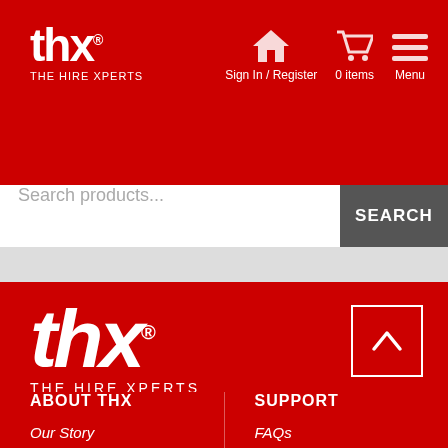[Figure (logo): THX - The Hire Xperts logo, white on red background, top left of header]
[Figure (infographic): Navigation icons: home, shopping cart (0 items), menu - white on red]
Search products...
SEARCH
[Figure (logo): THX - The Hire Xperts large logo, white on red background, footer section]
[Figure (other): Back to top chevron button, outlined square with up arrow, white on red]
ABOUT THX
Our Story
Corporate Responsibility
Sustainability
Meet The Team
SUPPORT
FAQs
Open An Account
Health & Safety
SuperHub